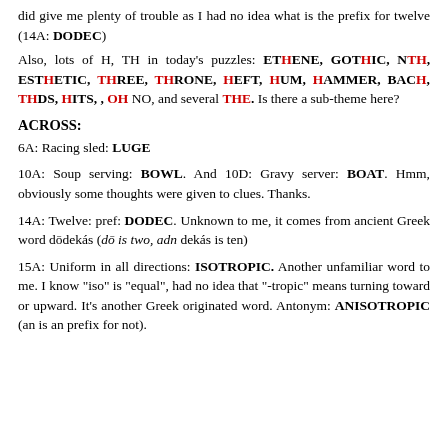did give me plenty of trouble as I had no idea what is the prefix for twelve (14A: DODEC)
Also, lots of H, TH in today's puzzles: ETHENE, GOTHIC, NTH, ESTHETIC, THREE, THRONE, HEFT, HUM, HAMMER, BACH, THDS, HITS, , OH NO, and several THE. Is there a sub-theme here?
ACROSS:
6A: Racing sled: LUGE
10A: Soup serving: BOWL. And 10D: Gravy server: BOAT. Hmm, obviously some thoughts were given to clues. Thanks.
14A: Twelve: pref: DODEC. Unknown to me, it comes from ancient Greek word dōdekás (dō is two, adn dekás is ten)
15A: Uniform in all directions: ISOTROPIC. Another unfamiliar word to me. I know "iso" is "equal", had no idea that "-tropic" means turning toward or upward. It's another Greek originated word. Antonym: ANISOTROPIC (an is an prefix for not).